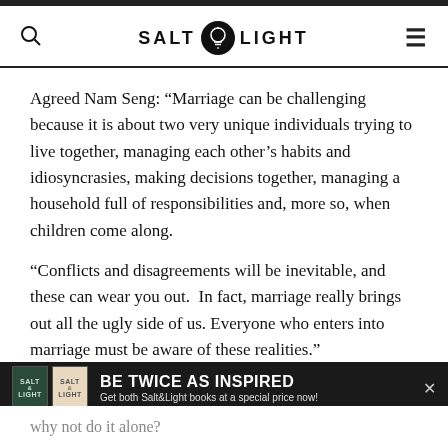SALT & LIGHT
Agreed Nam Seng: “Marriage can be challenging because it is about two very unique individuals trying to live together, managing each other’s habits and idiosyncrasies, making decisions together, managing a household full of responsibilities and, more so, when children come along.
“Conflicts and disagreements will be inevitable, and these can wear you out. In fact, marriage really brings out all the ugly side of us. Everyone who enters into marriage must be aware of these realities.”
[Figure (infographic): Advertisement banner for Salt&Light books: 'BE TWICE AS INSPIRED - Get both Salt&Light books at a special price now!']
why not do it alone?